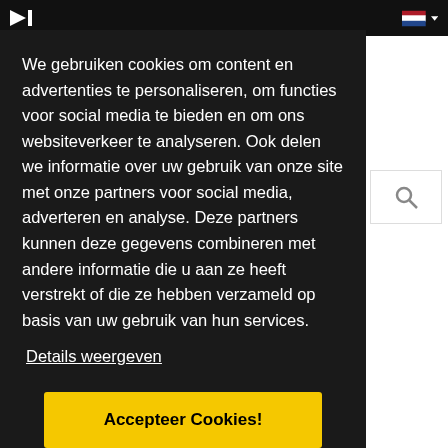We gebruiken cookies om content en advertenties te personaliseren, om functies voor social media te bieden en om ons websiteverkeer te analyseren. Ook delen we informatie over uw gebruik van onze site met onze partners voor social media, adverteren en analyse. Deze partners kunnen deze gegevens combineren met andere informatie die u aan ze heeft verstrekt of die ze hebben verzameld op basis van uw gebruik van hun services.
Details weergeven
Accepteer Cookies!
THIS ONE'S FOR YOU
David Guetta, Zara Larsson